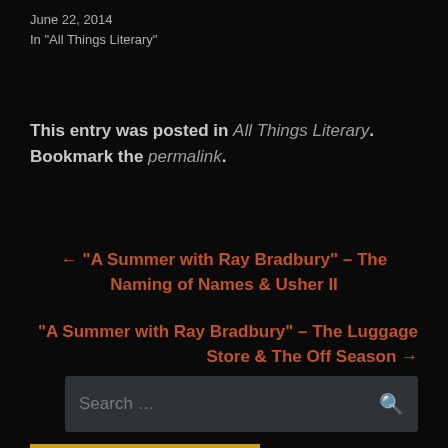June 22, 2014
In "All Things Literary"
This entry was posted in All Things Literary. Bookmark the permalink.
← "A Summer with Ray Bradbury" – The Naming of Names & Usher II
"A Summer with Ray Bradbury" – The Luggage Store & The Off Season →